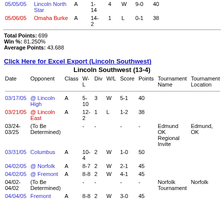| Date | Opponent | Class | W-L | Div | W/L | Score | Points | Tournament Name | Tournament Location |
| --- | --- | --- | --- | --- | --- | --- | --- | --- | --- |
| 05/05/05 | Lincoln North Star | A | 1-14 | 4 | W | 9-0 | 40 |  |  |
| 05/06/05 | Omaha Burke | A | 14-2 | 1 | L | 0-1 | 38 |  |  |
Total Points: 699
Win %: 81.250%
Average Points: 43.688
Click Here for Excel Export (Lincoln Southwest)
Lincoln Southwest (13-4)
| Date | Opponent | Class | W-L | Div | W/L | Score | Points | Tournament Name | Tournament Location |
| --- | --- | --- | --- | --- | --- | --- | --- | --- | --- |
| 03/17/05 | @ Lincoln High | A | 5-10 | 3 | W | 5-1 | 40 |  |  |
| 03/21/05 | @ Lincoln East | A | 12-2 | 1 | L | 1-2 | 38 |  |  |
| 03/24-03/25 | (To Be Determined) |  | - | - |  | - | - | Edmund OK Regional Invite | Edmund, OK |
| 03/31/05 | Columbus | A | 10-4 | 2 | W | 1-0 | 50 |  |  |
| 04/02/05 | @ Norfolk | A | 8-7 | 2 | W | 2-1 | 45 |  |  |
| 04/02/05 | @ Fremont | A | 8-8 | 2 | W | 4-1 | 45 |  |  |
| 04/02-04/02 | (To Be Determined) |  | - | - |  | - | - | Norfolk Tournament | Norfolk |
| 04/04/05 | Fremont | A | 8-8 | 2 | W | 3-0 | 45 |  |  |